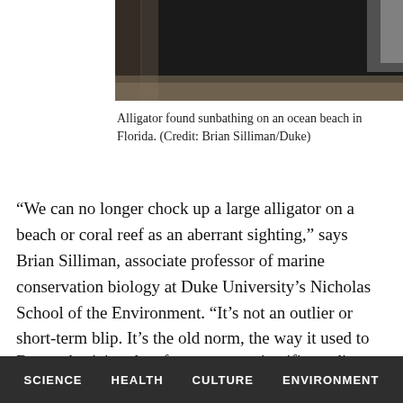[Figure (photo): Photograph of an alligator sunbathing on an ocean beach in Florida, partially obscured/redacted with a dark overlay.]
Alligator found sunbathing on an ocean beach in Florida. (Credit: Brian Silliman/Duke)
“We can no longer chock up a large alligator on a beach or coral reef as an aberrant sighting,” says Brian Silliman, associate professor of marine conservation biology at Duke University’s Nicholas School of the Environment. “It’s not an outlier or short-term blip. It’s the old norm, the way it used to be before we pushed these species onto their last legs in hard-to-reach refuges. Now, they are returning.”
By synthesizing data from recent scientific studies and
SCIENCE   HEALTH   CULTURE   ENVIRONMENT